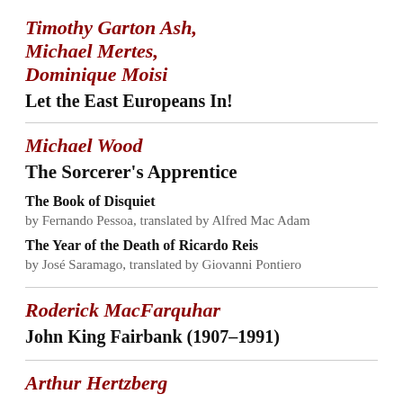Timothy Garton Ash, Michael Mertes, Dominique Moisi
Let the East Europeans In!
Michael Wood
The Sorcerer's Apprentice
The Book of Disquiet
by Fernando Pessoa, translated by Alfred Mac Adam
The Year of the Death of Ricardo Reis
by José Saramago, translated by Giovanni Pontiero
Roderick MacFarquhar
John King Fairbank (1907–1991)
Arthur Hertzberg